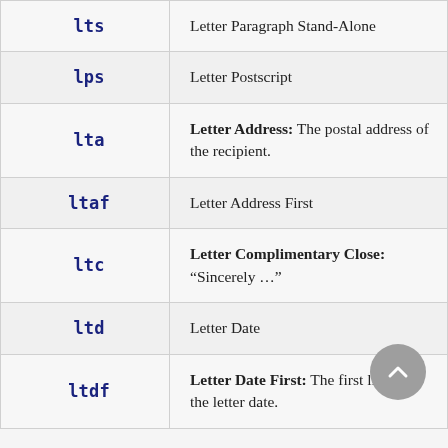| Code | Description |
| --- | --- |
| lts | Letter Paragraph Stand-Alone |
| lps | Letter Postscript |
| lta | Letter Address: The postal address of the recipient. |
| ltaf | Letter Address First |
| ltc | Letter Complimentary Close: “Sincerely…” |
| ltd | Letter Date |
| ltdf | Letter Date First: The first line of the letter date. |